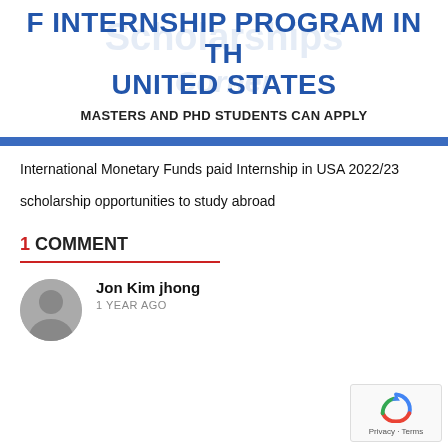F INTERNSHIP PROGRAM IN THE UNITED STATES
MASTERS AND PHD STUDENTS CAN APPLY
International Monetary Funds paid Internship in USA 2022/23
scholarship opportunities to study abroad
1 COMMENT
Jon Kim jhong
1 YEAR AGO